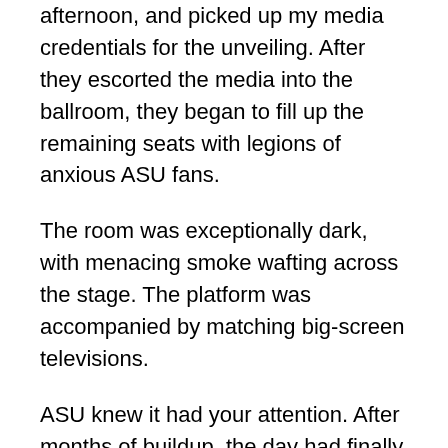afternoon, and picked up my media credentials for the unveiling. After they escorted the media into the ballroom, they began to fill up the remaining seats with legions of anxious ASU fans.
The room was exceptionally dark, with menacing smoke wafting across the stage. The platform was accompanied by matching big-screen televisions.
ASU knew it had your attention. After months of buildup, the day had finally come to unveil the new look of the Sun Devils, and it wasn't going to be a quick release party. They were too smart for that.
Rebranding a program is not without risks. It's easy to alienate your biggest financial contributors (hereafter referred to as "the boosters") if you do not create an image that pays homage to the past while focusing on